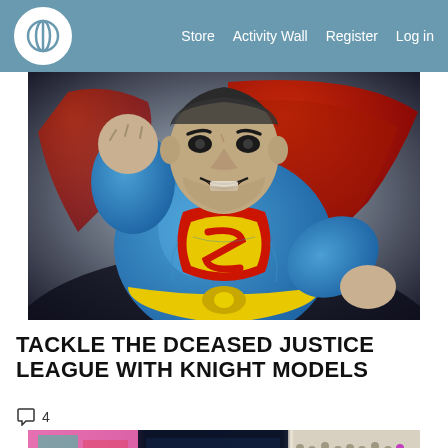Store  Activity Wall  Register  Log in
[Figure (photo): Close-up photo of a painted Superman miniature figure in a blue suit with red cape, yellow belt, and large S shield on chest, shown in an aggressive pose against a dark background.]
TACKLE THE DCEASED JUSTICE LEAGUE WITH KNIGHT MODELS
4 comments
[Figure (photo): Partial view of a tabletop game setup with painted miniature figures, game board tiles, and terrain pieces.]